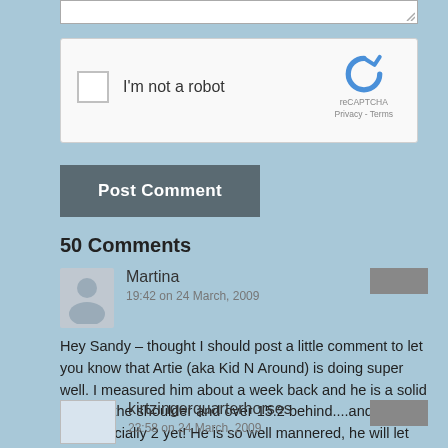[Figure (screenshot): Partial textarea input box at top of page]
[Figure (screenshot): reCAPTCHA widget with checkbox, 'I'm not a robot' label, and reCAPTCHA logo with Privacy/Terms links]
[Figure (screenshot): Post Comment button, dark gray background with white bold text]
50 Comments
Martina
19:42 on 24 March, 2009
Hey Sandy – thought I should post a little comment to let you know that Artie (aka Kid N Around) is doing super well. I measured him about a week back and he is a solid 15hh at the shoulder and over 15.2 behind....and not even officially 2 yet! He is so well mannered, he will let me clip his ears without a fuss and that is something for a horse his age!! Love the buckskin filly, can't wait to see what else comes this year....I'd like to buy another from you.
kirtzingerquarterhorses
23:58 on 24 March, 2009